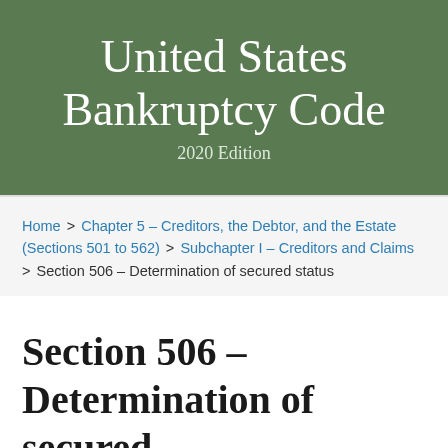United States Bankruptcy Code
2020 Edition
Home > Chapter 5 – Creditors, the Debtor, and the Estate (Sections 501 to 562) > Subchapter I – Creditors and Claims > Section 506 – Determination of secured status
Section 506 – Determination of secured status